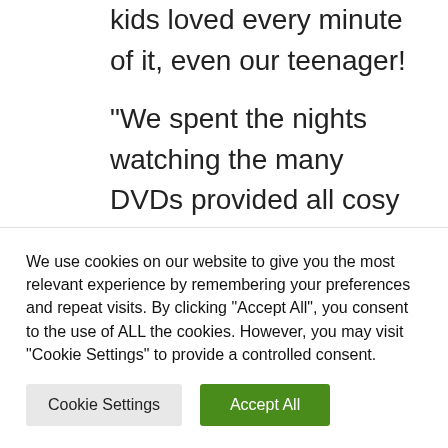kids loved every minute of it, even our teenager!
“We spent the nights watching the many DVDs provided all cosy in our PJs surrounded by trees. It was absolute heaven. The new owners couldn’t have done more for us. They are there whenever you need them
We use cookies on our website to give you the most relevant experience by remembering your preferences and repeat visits. By clicking “Accept All”, you consent to the use of ALL the cookies. However, you may visit “Cookie Settings” to provide a controlled consent.